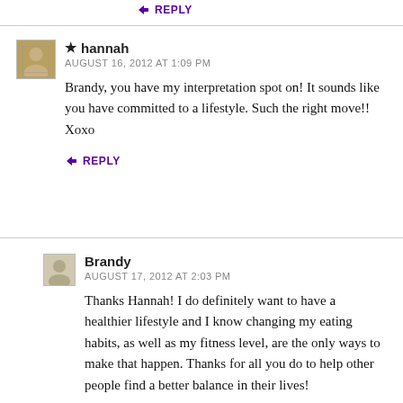↳ REPLY
★ hannah
AUGUST 16, 2012 AT 1:09 PM
Brandy, you have my interpretation spot on! It sounds like you have committed to a lifestyle. Such the right move!! Xoxo
↳ REPLY
Brandy
AUGUST 17, 2012 AT 2:03 PM
Thanks Hannah! I do definitely want to have a healthier lifestyle and I know changing my eating habits, as well as my fitness level, are the only ways to make that happen. Thanks for all you do to help other people find a better balance in their lives!